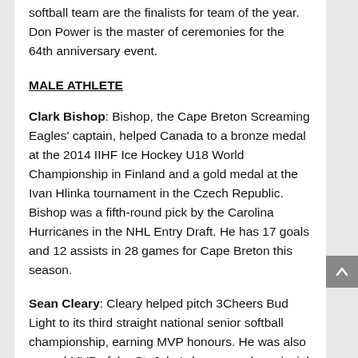softball team are the finalists for team of the year. Don Power is the master of ceremonies for the 64th anniversary event.
MALE ATHLETE
Clark Bishop: Bishop, the Cape Breton Screaming Eagles' captain, helped Canada to a bronze medal at the 2014 IIHF Ice Hockey U18 World Championship in Finland and a gold medal at the Ivan Hlinka tournament in the Czech Republic. Bishop was a fifth-round pick by the Carolina Hurricanes in the NHL Entry Draft. He has 17 goals and 12 assists in 28 games for Cape Breton this season.
Sean Cleary: Cleary helped pitch 3Cheers Bud Light to its third straight national senior softball championship, earning MVP honours. He was also named MVP of the St. John's league and provincial tournament.